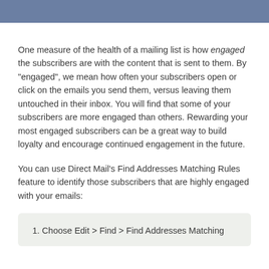One measure of the health of a mailing list is how engaged the subscribers are with the content that is sent to them. By "engaged", we mean how often your subscribers open or click on the emails you send them, versus leaving them untouched in their inbox. You will find that some of your subscribers are more engaged than others. Rewarding your most engaged subscribers can be a great way to build loyalty and encourage continued engagement in the future.
You can use Direct Mail's Find Addresses Matching Rules feature to identify those subscribers that are highly engaged with your emails:
1. Choose Edit > Find > Find Addresses Matching